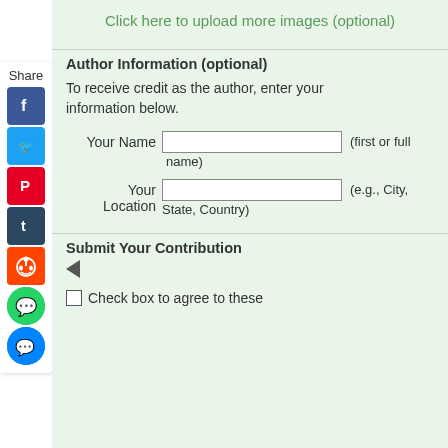Click here to upload more images (optional)
Author Information (optional)
To receive credit as the author, enter your information below.
Your Name [input field] (first or full name)
Your Location [input field] (e.g., City, State, Country)
Submit Your Contribution
Check box to agree to these